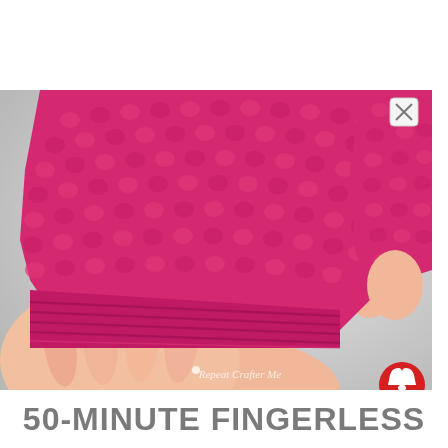[Figure (photo): Close-up photo of two hands wearing bright pink/magenta crochet fingerless gloves against a light gray/white background. The gloves show a textured crochet stitch pattern on the main body and a ribbed cuff at the wrist. The fingers are visible below the cuff. A 'Repeat Crafter Me' watermark and a red notification bell icon appear in the lower right of the image. An X close button is in the upper right corner.]
50-MINUTE FINGERLESS